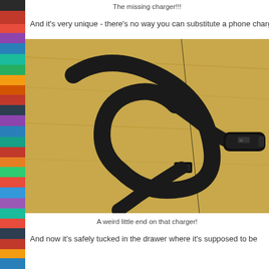The missing charger!!!
And it's very unique - there's no way you can substitute a phone charger
[Figure (photo): Photo of a black Surface-style magnetic charger cable with a distinctive connector end, coiled on a light wooden surface]
A weird little end on that charger!
And now it's safely tucked in the drawer where it's supposed to be